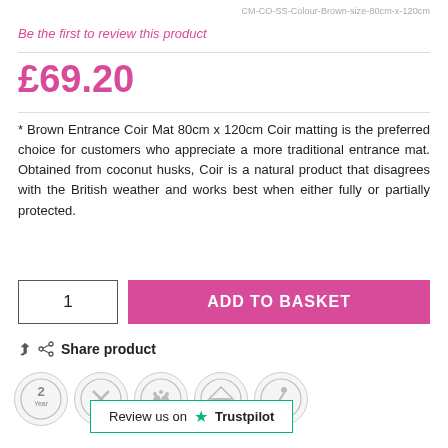CM-CO-SS-Colour-Brown-size-80cm-x-120cm
Be the first to review this product
£69.20
* Brown Entrance Coir Mat 80cm x 120cm Coir matting is the preferred choice for customers who appreciate a more traditional entrance mat. Obtained from coconut husks, Coir is a natural product that disagrees with the British weather and works best when either fully or partially protected.
1
ADD TO BASKET
Share product
[Figure (infographic): Five circular badge icons: 2 Year warranty, tools/ruler, footprint/mat, house entrance, slip hazard person]
Review us on Trustpilot